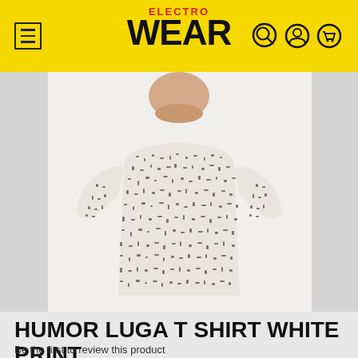ELECTRO WEAR
[Figure (photo): A man wearing a white t-shirt with an abstract dark speckle/print pattern. The photo is cropped at the chin showing only the neck down to the waist, white background.]
HUMOR LUGA T SHIRT WHITE PRINT
Be the first to review this product